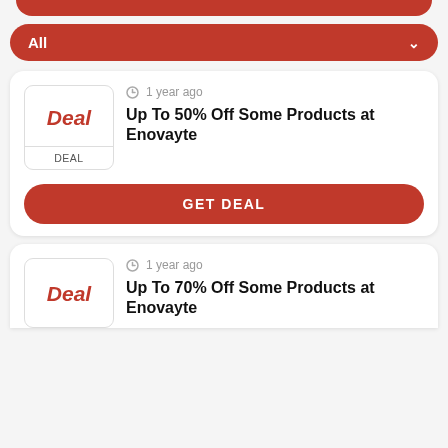[Figure (screenshot): Partial red rounded bar at top of page]
All
1 year ago
Up To 50% Off Some Products at Enovayte
DEAL
GET DEAL
1 year ago
Up To 70% Off Some Products at Enovayte